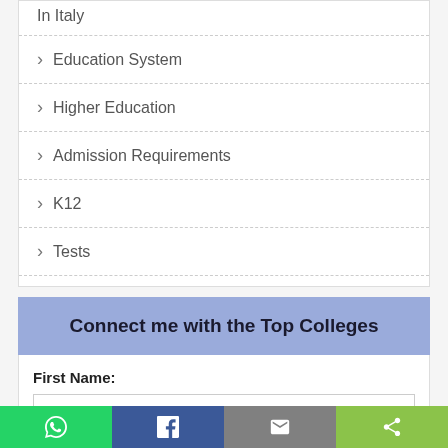In Italy
Education System
Higher Education
Admission Requirements
K12
Tests
Connect me with the Top Colleges
First Name:
Enter First Name